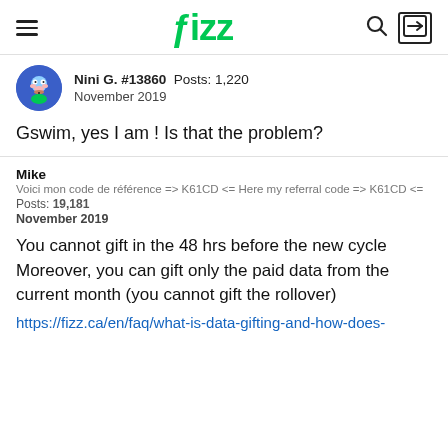fizz
Nini G. #13860  Posts: 1,220
November 2019
Gswim, yes I am ! Is that the problem?
Mike
Voici mon code de référence => K61CD <= Here my referral code => K61CD <=
Posts: 19,181
November 2019
You cannot gift in the 48 hrs before the new cycle
Moreover, you can gift only the paid data from the current month (you cannot gift the rollover)
https://fizz.ca/en/faq/what-is-data-gifting-and-how-does-